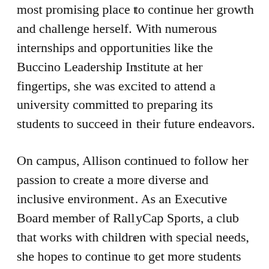most promising place to continue her growth and challenge herself. With numerous internships and opportunities like the Buccino Leadership Institute at her fingertips, she was excited to attend a university committed to preparing its students to succeed in their future endeavors.
On campus, Allison continued to follow her passion to create a more diverse and inclusive environment. As an Executive Board member of RallyCap Sports, a club that works with children with special needs, she hopes to continue to get more students involved. She feels this program is important. "Diversity enables us to consider different perspectives to come up with the best solutions to effectively create a better system and ultimately improve our nation." She also joined the University's Inclusion Alliance. Here, she spent weeks alongside her colleagues learning how racism and implicit bias are rooted in our individual lives and how to facilitate meaningful dialogues about the